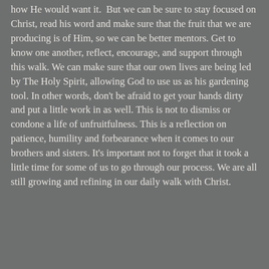how He would want it. But we can be sure to stay focused on Christ, read his word and make sure that the fruit that we are producing is of Him, so we can be better mentors. Get to know one another, reflect, encourage, and support through this walk. We can make sure that our own lives are being led by The Holy Spirit, allowing God to use us as his gardening tool. In other words, don't be afraid to get your hands dirty and put a little work in as well. This is not to dismiss or condone a life of unfruitfulness. This is a reflection on patience, humility and forbearance when it comes to our brothers and sisters. It's important not to forget that it took a little time for some of us to go through our process. We are all still growing and refining in our daily walk with Christ.